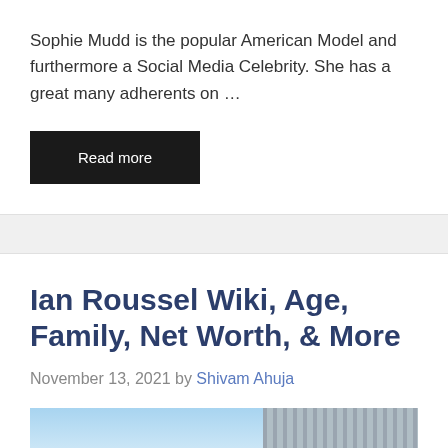Sophie Mudd is the popular American Model and furthermore a Social Media Celebrity. She has a great many adherents on …
Read more
Ian Roussel Wiki, Age, Family, Net Worth, & More
November 13, 2021 by Shivam Ahuja
[Figure (photo): Partial photo strip showing a sky scene on the left and a gray paneled surface on the right]